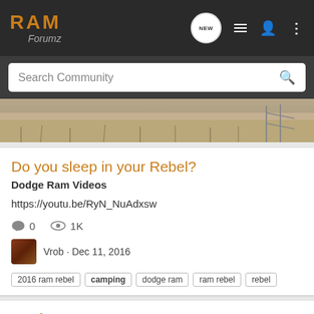RAM Forumz
Search Community
[Figure (photo): Outdoor landscape photo strip showing dry grass/scrubland terrain with a fence or structure visible on the right side]
Do you sleep in your Rebel?
Dodge Ram Videos
https://youtu.be/RyN_NuAdxsw
0   1K
Vrob · Dec 11, 2016
2016 ram rebel  camping  dodge ram  ram rebel  rebel
Rooftop tents
Dodge Ram 4x4 - Offroad Discussion